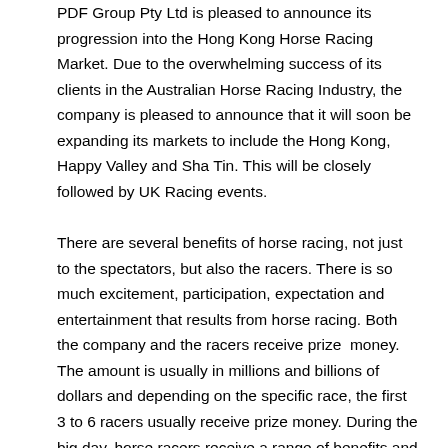PDF Group Pty Ltd is pleased to announce its progression into the Hong Kong Horse Racing Market. Due to the overwhelming success of its clients in the Australian Horse Racing Industry, the company is pleased to announce that it will soon be expanding its markets to include the Hong Kong, Happy Valley and Sha Tin. This will be closely followed by UK Racing events.
There are several benefits of horse racing, not just to the spectators, but also the racers. There is so much excitement, participation, expectation and entertainment that results from horse racing. Both the company and the racers receive prize  money. The amount is usually in millions and billions of dollars and depending on the specific race, the first 3 to 6 racers usually receive prize money. During the big day, horse racers receive a range of benefits and privileges, such as entry badges to allow them to enter the racecourse (the badges issued usually range from 2 to 6 depending on many factors like the course in use and whether the person is a partner or not), access and exclusive use of certain facilities such as restaurants, owners' bars and special areas are set aside for viewing. Winners are also awarded trophies but it is more so the...